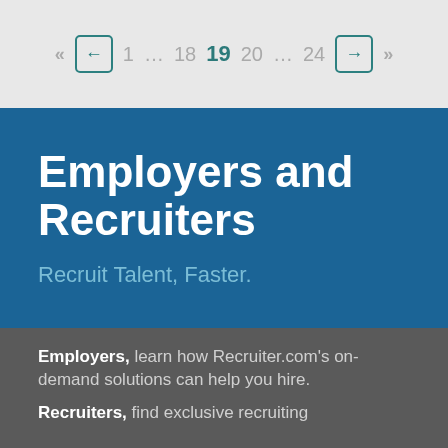« ← 1 … 18 19 20 … 24 → »
Employers and Recruiters
Recruit Talent, Faster.
Employers, learn how Recruiter.com's on-demand solutions can help you hire.
Recruiters, find exclusive recruiting